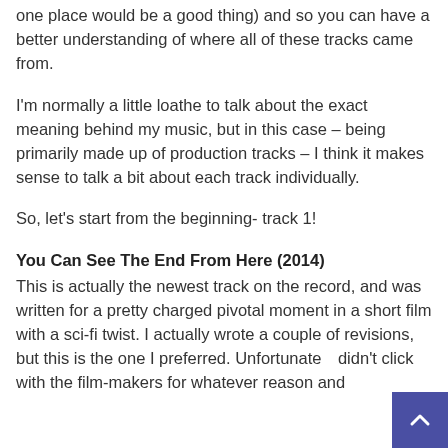one place would be a good thing) and so you can have a better understanding of where all of these tracks came from.
I'm normally a little loathe to talk about the exact meaning behind my music, but in this case – being primarily made up of production tracks – I think it makes sense to talk a bit about each track individually.
So, let's start from the beginning- track 1!
You Can See The End From Here (2014)
This is actually the newest track on the record, and was written for a pretty charged pivotal moment in a short film with a sci-fi twist. I actually wrote a couple of revisions, but this is the one I preferred. Unfortunately didn't click with the film-makers for whatever reason and